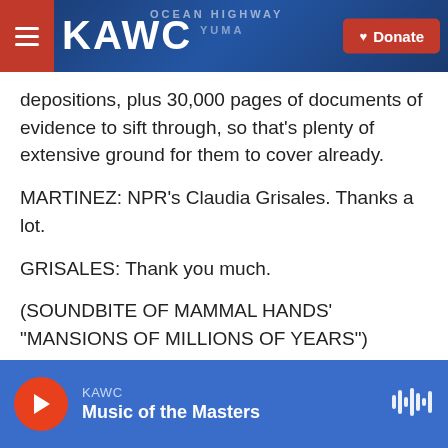KAWC | Donate
depositions, plus 30,000 pages of documents of evidence to sift through, so that's plenty of extensive ground for them to cover already.
MARTINEZ: NPR's Claudia Grisales. Thanks a lot.
GRISALES: Thank you much.
(SOUNDBITE OF MAMMAL HANDS' "MANSIONS OF MILLIONS OF YEARS") Transcript provided by NPR, Copyright NPR.
[Figure (other): Social share buttons: Facebook, Twitter, LinkedIn, Email]
KAWC — Music of the Masters